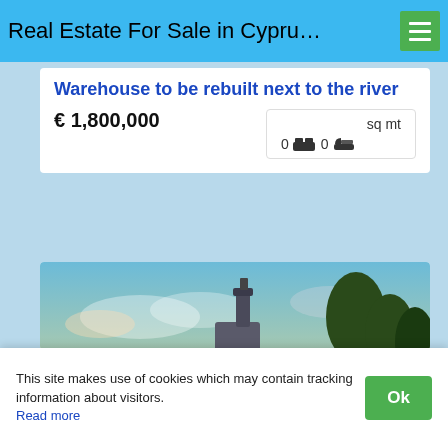Real Estate For Sale in Cypru…
Warehouse to be rebuilt next to the river
€ 1,800,000   sq mt   0 🛏 0 🛁
[Figure (photo): Photograph of a building with a tiled roof and chimney at dusk, with dramatic cloudy sky in shades of blue and orange, and trees in background]
This site makes use of cookies which may contain tracking information about visitors. Read more